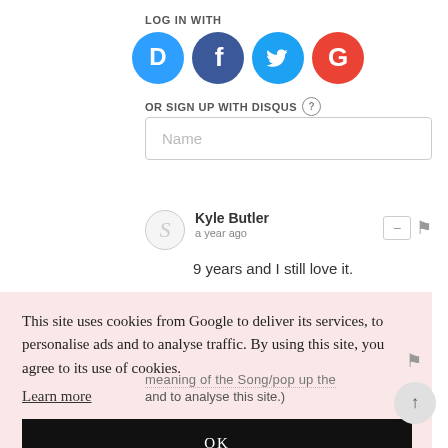LOG IN WITH
[Figure (illustration): Four social login icons: Disqus (blue circle with D), Facebook (dark blue circle with f), Twitter (light blue circle with bird), Google (red circle with G)]
OR SIGN UP WITH DISQUS ?
Name
Kyle Butler
a year ago
9 years and I still love it.
This site uses cookies from Google to deliver its services, to personalise ads and to analyse traffic. By using this site, you agree to its use of cookies.
Learn more
OK
meaning of the Song/pop up this